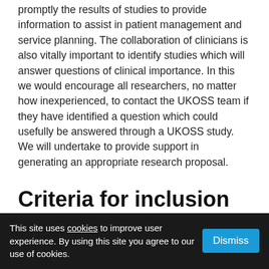promptly the results of studies to provide information to assist in patient management and service planning. The collaboration of clinicians is also vitally important to identify studies which will answer questions of clinical importance. In this we would encourage all researchers, no matter how inexperienced, to contact the UKOSS team if they have identified a question which could usefully be answered through a UKOSS study. We will undertake to provide support in generating an appropriate research proposal.
Criteria for inclusion of studies in the UKOSS programme
This site uses cookies to improve user experience. By using this site you agree to our use of cookies.